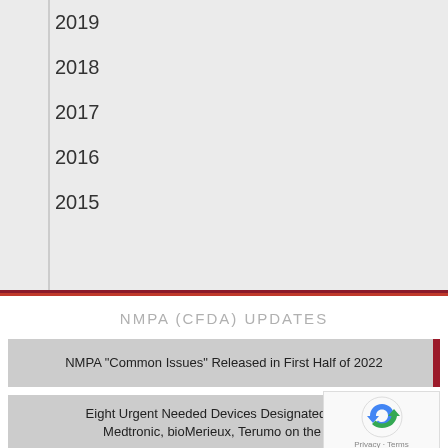2019
2018
2017
2016
2015
NMPA (CFDA) UPDATES
NMPA “Common Issues” Released in First Half of 2022
Eight Urgent Needed Devices Designated in GB Medtronic, bioMerieux, Terumo on the List